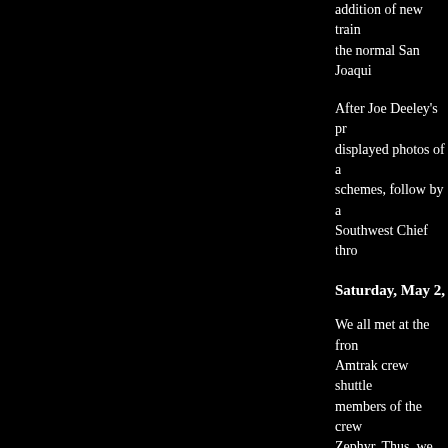addition of new train the normal San Joaqui
After Joe Deeley's pr displayed photos of a schemes, follow by a Southwest Chief thro
Saturday, May 2, 199
We all met at the fron Amtrak crew shuttle members of the crew Zephyr. Thus, we firs realize that we would immediately realize t told us we weren't at train, but never from railcars around me un
Since the group had c back together in the s group was assigned to Sleeping Cars stoppe lounge, and four othe